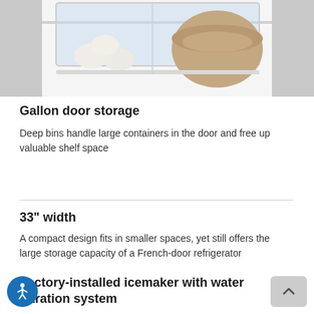[Figure (photo): Close-up photo of refrigerator door storage bins with clear plastic bins holding containers including what appears to be a round bowl and eggs, stainless steel frame visible]
Gallon door storage
Deep bins handle large containers in the door and free up valuable shelf space
33" width
A compact design fits in smaller spaces, yet still offers the large storage capacity of a French-door refrigerator
Factory-installed icemaker with water filtration system